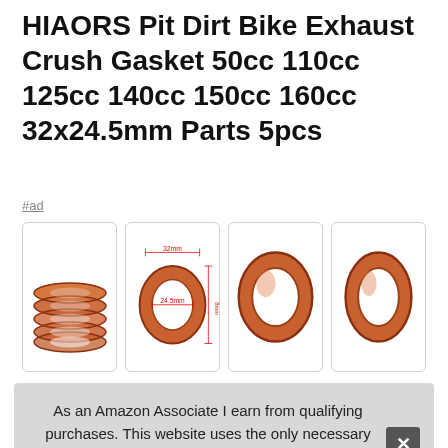HIAORS Pit Dirt Bike Exhaust Crush Gasket 50cc 110cc 125cc 140cc 150cc 160cc 32x24.5mm Parts 5pcs
#ad
[Figure (photo): Four product photos of copper exhaust crush gaskets: 1) stack of 5 rings, 2) single ring with dimension arrows (32mm width, 24.5mm inner, height marked), 3) single ring front view, 4) single ring slight angle view]
HIAORS   Fits:50-150cc pit pro pit bike trail bike dirt Bike
As an Amazon Associate I earn from qualifying purchases. This website uses the only necessary cookies to ensure you get the best experience on our website. More information
More information